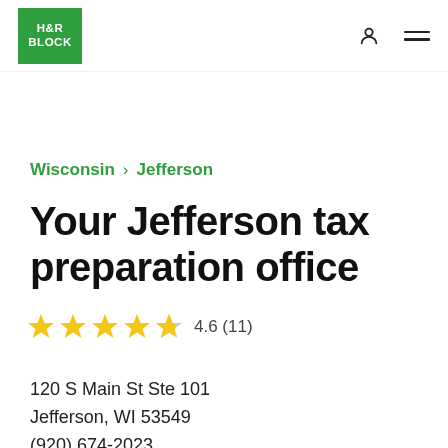H&R BLOCK
Wisconsin > Jefferson
Your Jefferson tax preparation office
4.6 (11)
120 S Main St Ste 101
Jefferson, WI 53549
(920) 674-2023